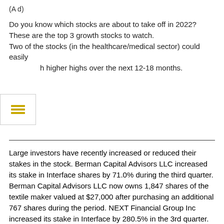(A d)
Do you know which stocks are about to take off in 2022? These are the top 3 growth stocks to watch.
Two of the stocks (in the healthcare/medical sector) could easily reach higher highs over the next 12-18 months.
Large investors have recently increased or reduced their stakes in the stock. Berman Capital Advisors LLC increased its stake in Interface shares by 71.0% during the third quarter. Berman Capital Advisors LLC now owns 1,847 shares of the textile maker valued at $27,000 after purchasing an additional 767 shares during the period. NEXT Financial Group Inc increased its stake in Interface by 280.5% in the 3rd quarter. NEXT Financial Group Inc now owns 4,657 shares of the textile maker worth $71,000 after acquiring 3,433 additional shares in the last quarter. Advisor Group Holdings Inc. increased its holdings of Interface shares by 28.1% in Q3. Advisor Group Holdings Inc. now owns 6,328 shares of the textile maker worth $95,000 after